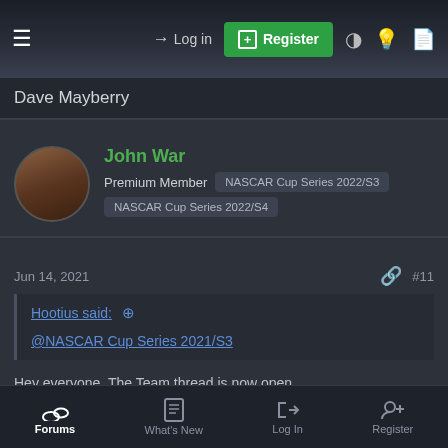Log in  Register
Dave Mayberry
John War
Premium Member  NASCAR Cup Series 2022/S3  NASCAR Cup Series 2022/S4
Jun 14, 2021  #11
Hootius said:
@NASCAR Cup Series 2021/S3

Hey everyone. The Team thread is now open.

For any new drivers, being on a team is not mandatory, but we do
Forums  What's New  Log In  Register